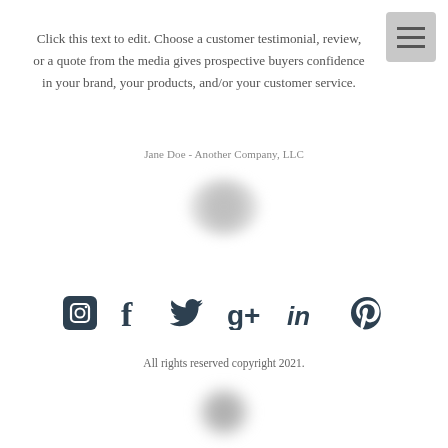[Figure (other): Hamburger menu button (three horizontal lines) in grey rounded square, top-right corner]
Click this text to edit. Choose a customer testimonial, review, or a quote from the media gives prospective buyers confidence in your brand, your products, and/or your customer service.
Jane Doe - Another Company, LLC
[Figure (photo): Blurred circular grey blob representing a profile photo placeholder]
[Figure (other): Social media icons row: Instagram, Facebook, Twitter, Google+, LinkedIn, Pinterest — all in dark navy color]
All rights reserved copyright 2021.
[Figure (photo): Blurred circular grey blob at bottom of page]